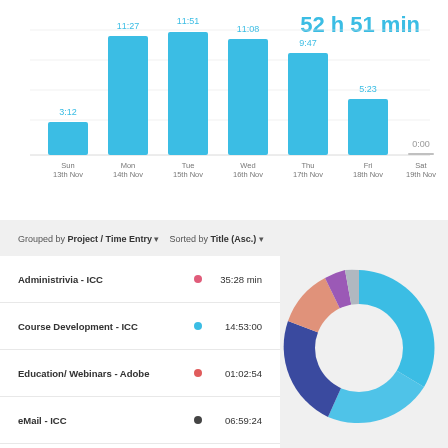[Figure (bar-chart): 52 h 51 min]
Grouped by Project / Time Entry   Sorted by Title (Asc.)
[Figure (donut-chart): Time by project]
Administrivia - ICC   35:28 min
Course Development - ICC   14:53:00
Education/ Webinars - Adobe   01:02:54
eMail - ICC   06:59:24
Faculty Fellows - ICC   07:49 min
FD HFH   17:22 min
Grading - ICC   31:49 min
Learning - ICC   22:29 min